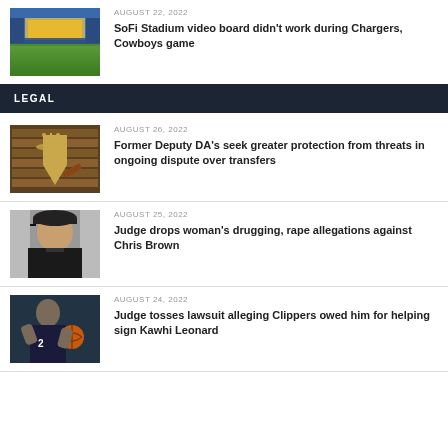[Figure (photo): Aerial view of SoFi Stadium with football field]
AUGUST 22, 2022
SoFi Stadium video board didn't work during Chargers, Cowboys game
LEGAL
[Figure (photo): Scales of justice and gavel in library setting]
AUGUST 26, 2022
Former Deputy DA's seek greater protection from threats in ongoing dispute over transfers
[Figure (photo): Portrait of Chris Brown wearing a cap]
AUGUST 25, 2022
Judge drops woman's drugging, rape allegations against Chris Brown
[Figure (photo): Basketball player in action, Clippers related]
AUGUST 24, 2022
Judge tosses lawsuit alleging Clippers owed him for helping sign Kawhi Leonard